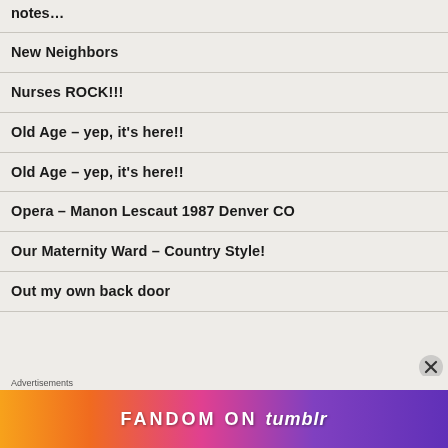notes…
New Neighbors
Nurses ROCK!!!
Old Age – yep, it's here!!
Old Age – yep, it's here!!
Opera – Manon Lescaut 1987 Denver CO
Our Maternity Ward – Country Style!
Out my own back door
Advertisements
[Figure (infographic): Fandom on Tumblr advertisement banner with colorful gradient background (orange to purple) and white bold text reading FANDOM ON tumblr]